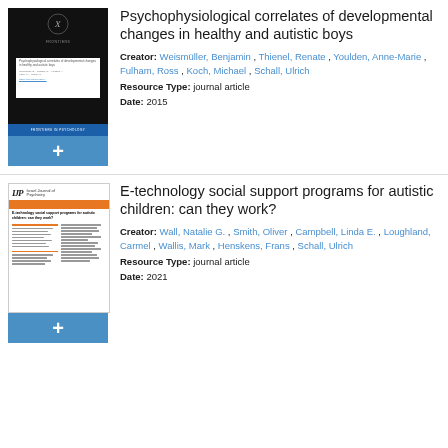[Figure (other): Thumbnail of journal article cover with black background and logo, with a blue plus button below]
Psychophysiological correlates of developmental changes in healthy and autistic boys
Creator: Weismüller, Benjamin , Thienel, Renate , Youlden, Anne-Marie , Fulham, Ross , Koch, Michael , Schall, Ulrich
Resource Type: journal article
Date: 2015
[Figure (other): Thumbnail of journal article page from Israel Journal of Psychiatry with orange header bar, with a blue plus button below]
E-technology social support programs for autistic children: can they work?
Creator: Wall, Natalie G. , Smith, Oliver , Campbell, Linda E. , Loughland, Carmel , Wallis, Mark , Henskens, Frans , Schall, Ulrich
Resource Type: journal article
Date: 2021